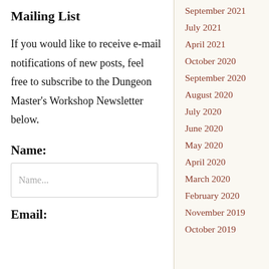Mailing List
If you would like to receive e-mail notifications of new posts, feel free to subscribe to the Dungeon Master's Workshop Newsletter below.
Name:
Name...
Email:
September 2021
July 2021
April 2021
October 2020
September 2020
August 2020
July 2020
June 2020
May 2020
April 2020
March 2020
February 2020
November 2019
October 2019